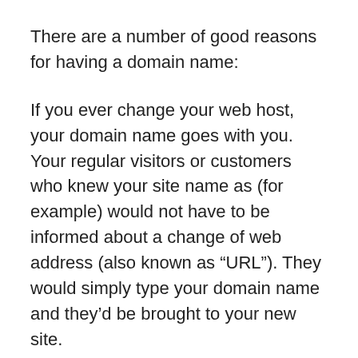There are a number of good reasons for having a domain name:
If you ever change your web host, your domain name goes with you. Your regular visitors or customers who knew your site name as (for example) would not have to be informed about a change of web address (also known as “URL”). They would simply type your domain name and they’d be brought to your new site.
If you are a business, a domain name gives you credibility. Few people will be willing to do business with a company that does not have its own domain.